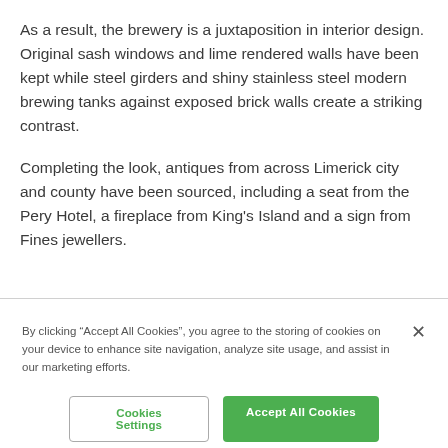As a result, the brewery is a juxtaposition in interior design. Original sash windows and lime rendered walls have been kept while steel girders and shiny stainless steel modern brewing tanks against exposed brick walls create a striking contrast.
Completing the look, antiques from across Limerick city and county have been sourced, including a seat from the Pery Hotel, a fireplace from King's Island and a sign from Fines jewellers.
By clicking “Accept All Cookies”, you agree to the storing of cookies on your device to enhance site navigation, analyze site usage, and assist in our marketing efforts.
Cookies Settings
Accept All Cookies